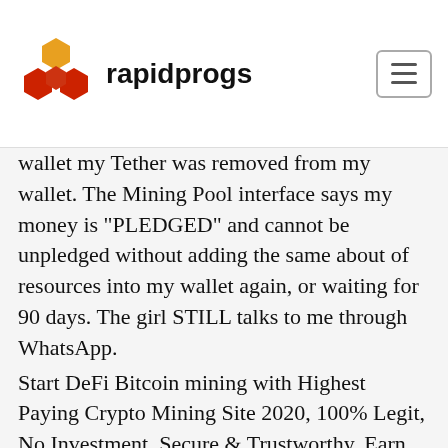rapidprogs
wallet my Tether was removed from my wallet. The Mining Pool interface says my money is "PLEDGED" and cannot be unpledged without adding the same about of resources into my wallet again, or waiting for 90 days. The girl STILL talks to me through WhatsApp.
Start DeFi Bitcoin mining with Highest Paying Crypto Mining Site 2020, 100% Legit, No Investment, Secure & Trustworthy. Earn Free Bitcoins Now! Let's take a deeper look at www.defimining.website below.
DeFi Yield Farmers Beware: Scam Alert. Wherever there are resources there are predators. The more